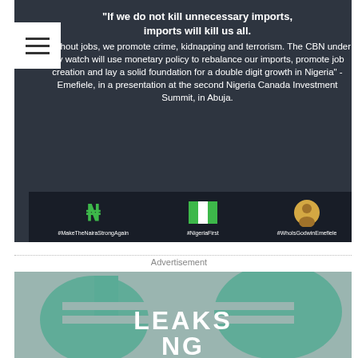[Figure (infographic): Dark background infographic with white text quotes by Emefiele about imports, jobs, and CBN monetary policy, with hashtag icons at the bottom: #MakeTheNairaStrongAgain (Naira symbol), #NigeriaFirst (Nigerian flag), #WhoIsGodwinEmefiele (person photo)]
Advertisement
[Figure (logo): LEAKS NG logo on grey-green background with stylized Naira symbol shape]